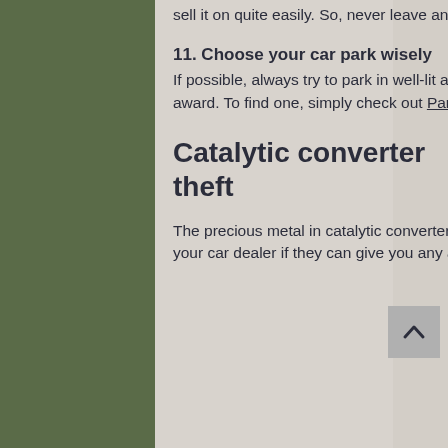sell it on quite easily. So, never leave any documents in the vehicle.
11. Choose your car park wisely
If possible, always try to park in well-lit and staffed car parks or those with a Park Mark safer parking award. To find one, simply check out Park Mark.
Catalytic converter theft
The precious metal in catalytic converters has led to an increase in their theft. To keep yours safe, ask your car dealer if they can give you any advice on locks or guards that are approved by the